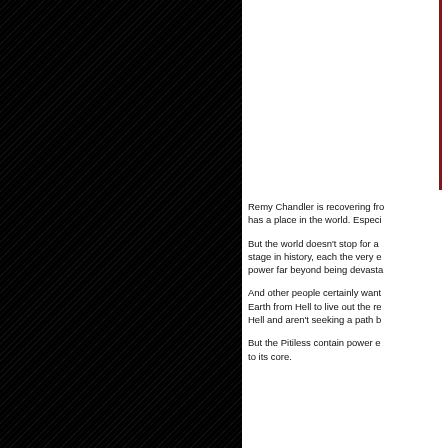[Figure (photo): Book cover image occupying the upper right portion of the page, with a dark red border line on the right edge]
Remy Chandler is recovering fro... has a place in the world. Especi...
But the world doesn't stop for a... stage in history, each the very e... power far beyond being devasta...
And other people certainly want... Earth from Hell to live out the re... Hell and aren't seeking a path b...
But the Pitiless contain power e... to its core.